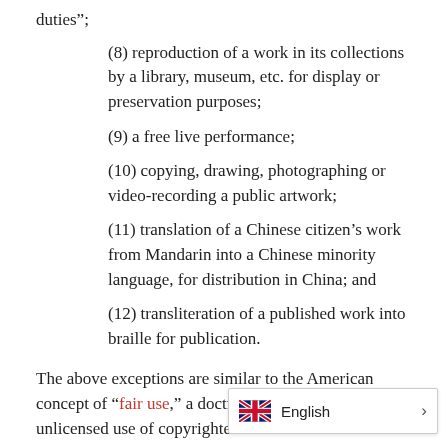duties”;
(8) reproduction of a work in its collections by a library, museum, etc. for display or preservation purposes;
(9) a free live performance;
(10) copying, drawing, photographing or video-recording a public artwork;
(11) translation of a Chinese citizen’s work from Mandarin into a Chinese minority language, for distribution in China; and
(12) transliteration of a published work into braille for publication.
The above exceptions are similar to the American concept of “fair use,” a doctrine that allows for unlicensed use of copyrighted m…